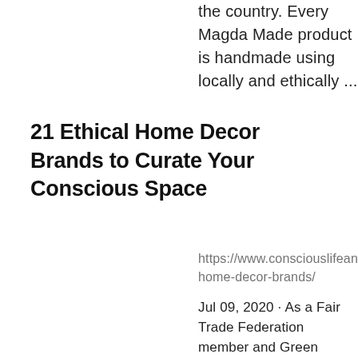the country. Every Magda Made product is handmade using locally and ethically ...
21 Ethical Home Decor Brands to Curate Your Conscious Space
https://www.consciouslifeandstyle.co home-decor-brands/
Jul 09, 2020 · As a Fair Trade Federation member and Green America-certified business, Fair Trade Winds is